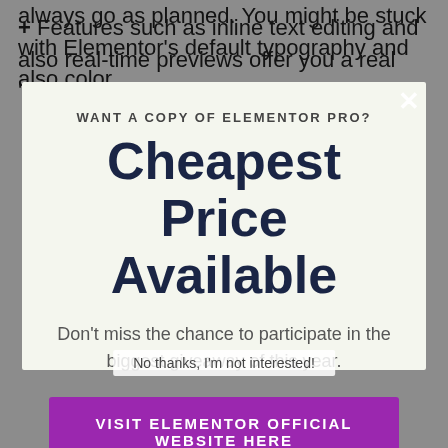+ Features such as inline text editing and also real-time previews offer you a real 'what-you-see-is-
WANT A COPY OF ELEMENTOR PRO?
Cheapest Price Available
Don't miss the chance to participate in the biggest giveaway of this year.
VISIT ELEMENTOR OFFICIAL WEBSITE HERE 👈
No thanks, I'm not interested!
always go as planned. You might be stuck with Elementor's default typography and also color